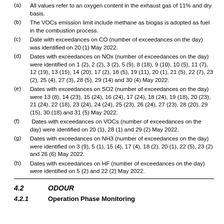(a) All values refer to an oxygen content in the exhaust gas of 11% and dry basis.
(b) The VOCs emission limit include methane as biogas is adopted as fuel in the combustion process.
(c) Date with exceedances on CO (number of exceedances on the day) was identified on 20 (1) May 2022.
(d) Dates with exceedances on NOx (number of exceedances on the day) were identified on 1 (2), 2 (2), 3 (2), 5 (9), 8 (18), 9 (10), 10 (5), 11 (7), 12 (19), 13 (15), 14 (20), 17 (2), 18 (5), 19 (11), 20 (1), 21 (5), 22 (7), 23 (2), 25 (4), 27 (3), 28 (5), 29 (14) and 30 (4) May 2022.
(e) Dates with exceedances on SO2 (number of exceedances on the day) were 13 (8), 14 (23), 15 (24), 16 (24), 17 (24), 18 (24), 19 (18), 20 (23), 21 (24), 22 (18), 23 (24), 24 (24), 25 (23), 26 (24), 27 (23), 28 (20), 29 (15), 30 (18) and 31 (5) May 2022.
(f) Dates with exceedances on VOCs (number of exceedances on the day) were identified on 20 (1), 28 (1) and 29 (2) May 2022.
(g) Dates with exceedances on NH3 (number of exceedances on the day) were identified on 3 (9), 5 (1), 15 (4), 17 (4), 18 (2), 20 (1), 22 (5), 23 (2) and 26 (6) May 2022.
(h) Dates with exceedances on HF (number of exceedances on the day) were identified on 5 (2) and 22 (2) May 2022.
4.2 ODOUR
4.2.1 Operation Phase Monitoring